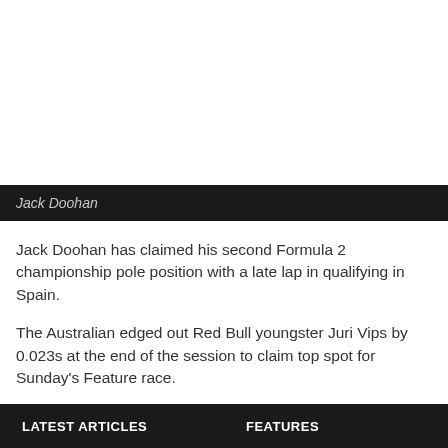[Figure (photo): Photo of Jack Doohan (white/blank area in this crop)]
Jack Doohan
Jack Doohan has claimed his second Formula 2 championship pole position with a late lap in qualifying in Spain.
The Australian edged out Red Bull youngster Juri Vips by 0.023s at the end of the session to claim top spot for Sunday's Feature race.
Calan Williams recorded a strong result with the ninth best time,
LATEST ARTICLES    FEATURES